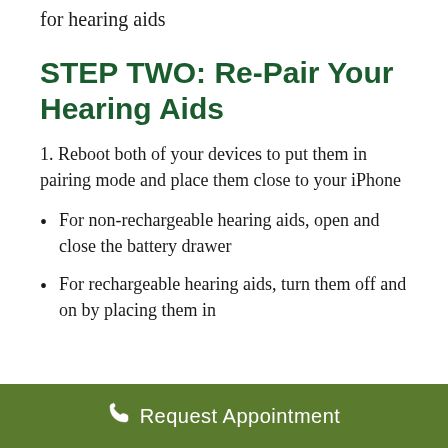for hearing aids
STEP TWO: Re-Pair Your Hearing Aids
1. Reboot both of your devices to put them in pairing mode and place them close to your iPhone
For non-rechargeable hearing aids, open and close the battery drawer
For rechargeable hearing aids, turn them off and on by placing them in
Request Appointment